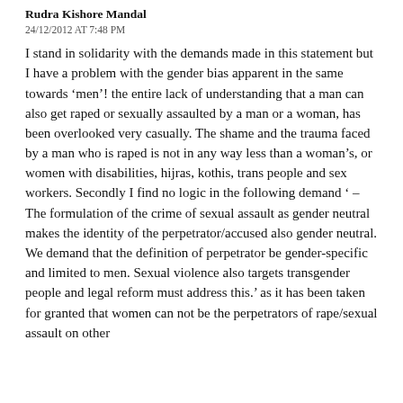Rudra Kishore Mandal
24/12/2012 AT 7:48 PM
I stand in solidarity with the demands made in this statement but I have a problem with the gender bias apparent in the same towards ‘men’! the entire lack of understanding that a man can also get raped or sexually assaulted by a man or a woman, has been overlooked very casually. The shame and the trauma faced by a man who is raped is not in any way less than a woman’s, or women with disabilities, hijras, kothis, trans people and sex workers. Secondly I find no logic in the following demand ‘ – The formulation of the crime of sexual assault as gender neutral makes the identity of the perpetrator/accused also gender neutral. We demand that the definition of perpetrator be gender-specific and limited to men. Sexual violence also targets transgender people and legal reform must address this.’ as it has been taken for granted that women can not be the perpetrators of rape/sexual assault on other